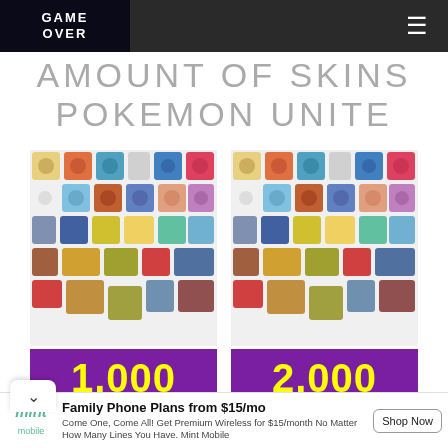GAME OVER
AMOUNT OF SKINS POKEMON UNITE
[Figure (illustration): Grid of Pokemon Unite character skins - left panel showing various costumed Pokemon characters]
[Figure (illustration): Grid of Pokemon Unite character skins - right panel showing various costumed Pokemon characters]
1.000
2.000
Family Phone Plans from $15/mo. Come One, Come All! Get Premium Wireless for $15/month No Matter How Many Lines You Have. Mint Mobile. Shop Now